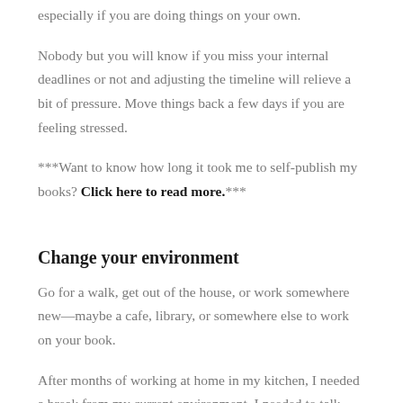especially if you are doing things on your own.
Nobody but you will know if you miss your internal deadlines or not and adjusting the timeline will relieve a bit of pressure. Move things back a few days if you are feeling stressed.
***Want to know how long it took me to self-publish my books? Click here to read more.***
Change your environment
Go for a walk, get out of the house, or work somewhere new—maybe a cafe, library, or somewhere else to work on your book.
After months of working at home in my kitchen, I needed a break from my current environment. I needed to talk with